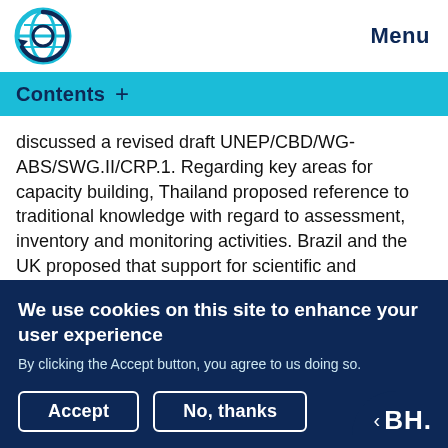Menu
Contents +
discussed a revised draft UNEP/CBD/WG-ABS/SWG.II/CRP.1. Regarding key areas for capacity building, Thailand proposed reference to traditional knowledge with regard to assessment, inventory and monitoring activities. Brazil and the UK proposed that support for scientific and technical areas, including technology transfer
We use cookies on this site to enhance your user experience
By clicking the Accept button, you agree to us doing so.